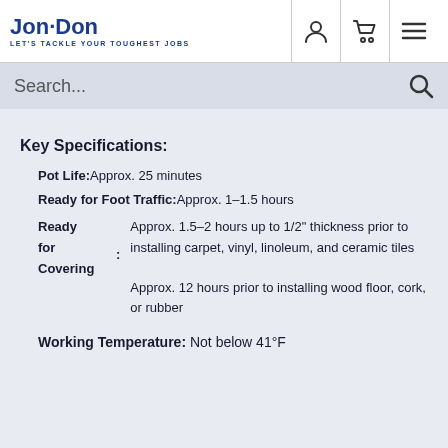Jon·Don — LET'S TACKLE YOUR TOUGHEST JOBS
Key Specifications:
Pot Life: Approx. 25 minutes
Ready for Foot Traffic: Approx. 1–1.5 hours
Ready for Covering: Approx. 1.5–2 hours up to 1/2" thickness prior to installing carpet, vinyl, linoleum, and ceramic tiles; Approx. 12 hours prior to installing wood floor, cork, or rubber
Working Temperature: Not below 41°F